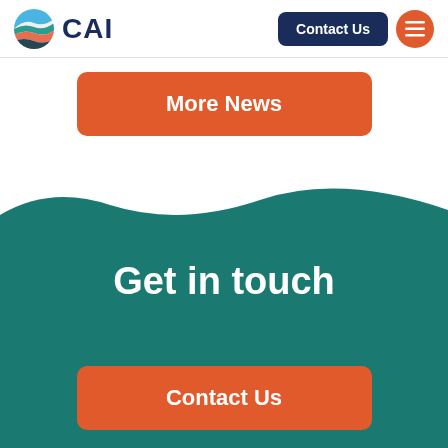CAI — Contact Us
More News
[Figure (illustration): Teal wave shape separating white and teal background sections]
Get in touch
Contact Us